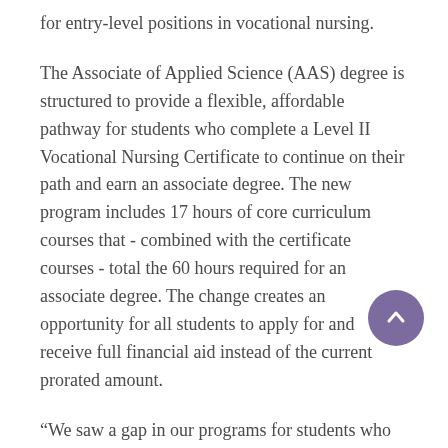for entry-level positions in vocational nursing.
The Associate of Applied Science (AAS) degree is structured to provide a flexible, affordable pathway for students who complete a Level II Vocational Nursing Certificate to continue on their path and earn an associate degree. The new program includes 17 hours of core curriculum courses that - combined with the certificate courses - total the 60 hours required for an associate degree. The change creates an opportunity for all students to apply for and receive full financial aid instead of the current prorated amount.
“We saw a gap in our programs for students who wanted to pursue a career in nursing, but needed a different approach,” says Pat Recek, ACC Health Sciences dean. “Through this program, students can earn a certificate and begin working in the field while they work toward their associate degree.”